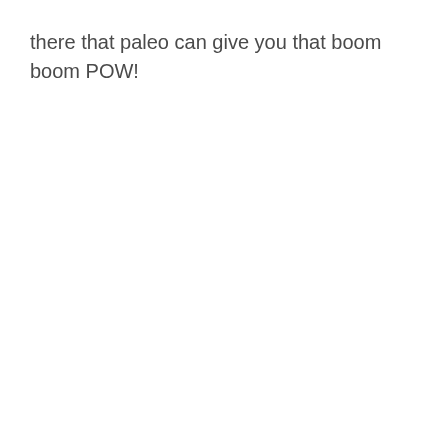there that paleo can give you that boom boom POW!